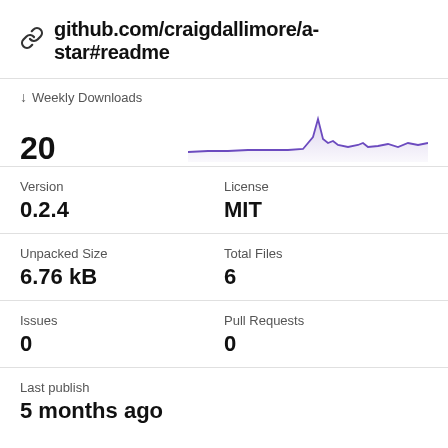github.com/craigdallimore/a-star#readme
↓ Weekly Downloads
20
[Figure (continuous-plot): Weekly downloads line chart showing a relatively flat line with a notable spike, rendered in purple/violet color with shaded area below]
Version
0.2.4
License
MIT
Unpacked Size
6.76 kB
Total Files
6
Issues
0
Pull Requests
0
Last publish
5 months ago